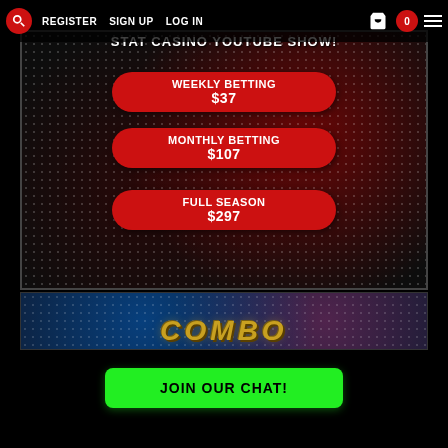REGISTER   SIGN UP   LOG IN   0
[Figure (screenshot): Casino YouTube show promotional banner with dotted red/black background, showing betting options: WEEKLY BETTING $37, MONTHLY BETTING $107, FULL SEASON $297 as red rounded buttons]
[Figure (screenshot): COMBO text banner with blue and pink dotted background, gold metallic bold italic text reading COMBO]
JOIN OUR CHAT!